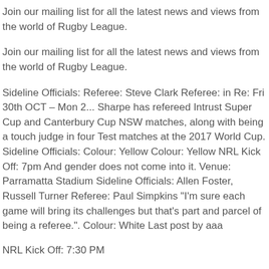Join our mailing list for all the latest news and views from the world of Rugby League.
Join our mailing list for all the latest news and views from the world of Rugby League.
Sideline Officials: Referee: Steve Clark Referee: in Re: Fri 30th OCT – Mon 2... Sharpe has refereed Intrust Super Cup and Canterbury Cup NSW matches, along with being a touch judge in four Test matches at the 2017 World Cup. Sideline Officials: Colour: Yellow Colour: Yellow NRL Kick Off: 7pm And gender does not come into it. Venue: Parramatta Stadium Sideline Officials: Allen Foster, Russell Turner Referee: Paul Simpkins "I'm sure each game will bring its challenges but that's part and parcel of being a referee.". Colour: White Last post by aaa
NRL Kick Off: 7:30 PM
Video Referee: Phil Cooley, GAME: Brisbane Broncos V Parramatta